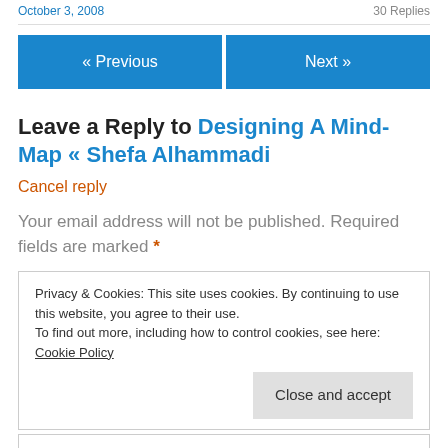October 3, 2008   30 Replies
« Previous   Next »
Leave a Reply to Designing A Mind-Map « Shefa Alhammadi
Cancel reply
Your email address will not be published. Required fields are marked *
Privacy & Cookies: This site uses cookies. By continuing to use this website, you agree to their use. To find out more, including how to control cookies, see here: Cookie Policy
Close and accept